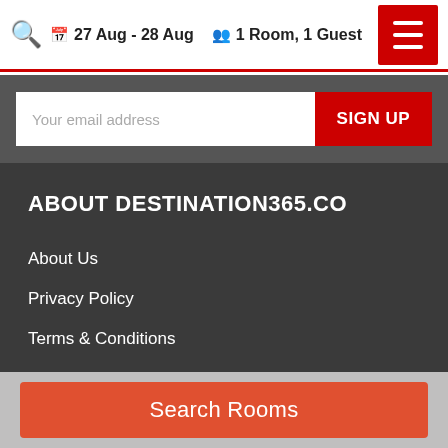27 Aug - 28 Aug  1 Room, 1 Guest
Your email address
SIGN UP
ABOUT DESTINATION365.CO
About Us
Privacy Policy
Terms & Conditions
Why Book With us
Earn Loyalty Points
Sitemap
Search Rooms